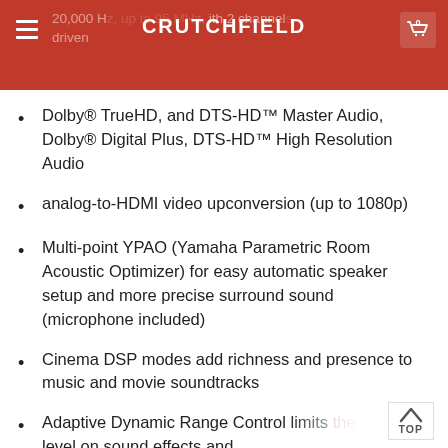20,000 Hz, with 2 channels driven — CRUTCHFIELD
Dolby® TrueHD, and DTS-HD™ Master Audio, Dolby® Digital Plus, DTS-HD™ High Resolution Audio
analog-to-HDMI video upconversion (up to 1080p)
Multi-point YPAO (Yamaha Parametric Room Acoustic Optimizer) for easy automatic speaker setup and more precise surround sound (microphone included)
Cinema DSP modes add richness and presence to music and movie soundtracks
Adaptive Dynamic Range Control limits the volume level on sound effects and